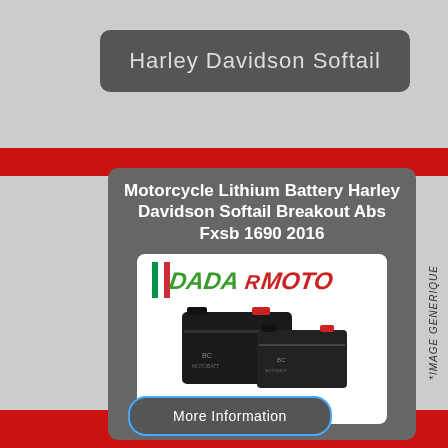Harley Davidson Softail
Motorcycle Lithium Battery Harley Davidson Softail Breakout Abs Fxsb 1690 2016
[Figure (logo): DADA MOTO logo in green and red italic text]
[Figure (photo): Two black motorcycle lithium batteries (BC brand) photographed against white background, eBay watermark below]
eBay
*IMAGE GENERIQUE
More Information